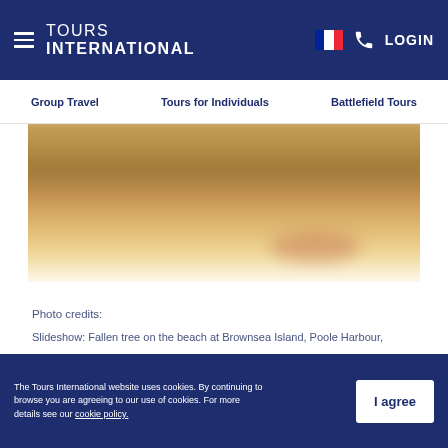TOURS INTERNATIONAL | Group Travel | Tours for Individuals | Battlefield Tours | LOGIN
[Figure (photo): Blurred slideshow image of a beach scene, likely Brownsea Island, Poole Harbour, Dorset]
Photo credits:
Slideshow: Fallen tree on the beach at Brownsea Island, Poole Harbour, Dorset © National Trust Images/Chris Lacey; Blue Pool
Photos to the right of the tour: Enid Blyton's books © Knoll House Hotel; Enid Blyton and Kenneth Darrell Waters golfing © Purbeck Golf
The Tours International website uses cookies. By continuing to browse you are agreeing to our use of cookies. For more details see our cookie policy. | I agree